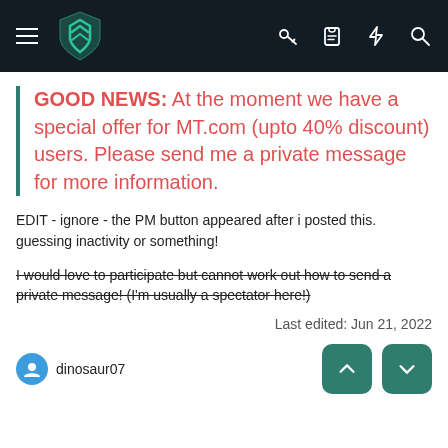[Figure (screenshot): Mobile app navigation bar with hamburger menu, teal shield logo, and icons for key, clipboard, lightning bolt, and search on dark background]
GOOD NEWS: At the moment we have a special offer for MT.com (upto 40% discount) users. Please send me a private message for more information.
EDIT - ignore - the PM button appeared after i posted this. guessing inactivity or something!
I would love to participate but cannot work out how to send a private message! (I'm usually a spectator here!)
Last edited: Jun 21, 2022
dinosaur07